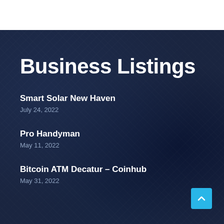Business Listings
Smart Solar New Haven
July 24, 2022
Pro Handyman
May 11, 2022
Bitcoin ATM Decatur – Coinhub
May 31, 2022